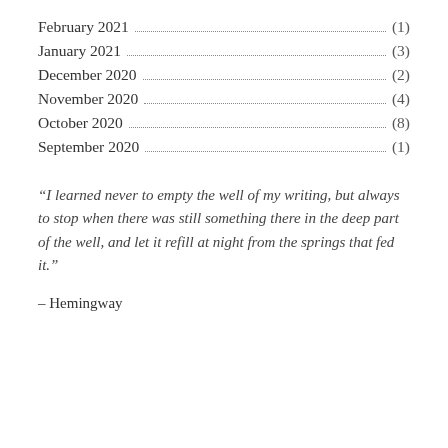February 2021 (1)
January 2021 (3)
December 2020 (2)
November 2020 (4)
October 2020 (8)
September 2020 (1)
“I learned never to empty the well of my writing, but always to stop when there was still something there in the deep part of the well, and let it refill at night from the springs that fed it.”
– Hemingway